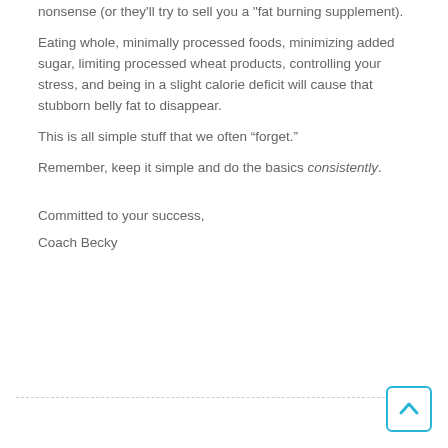nonsense (or they'll try to sell you a "fat burning supplement).
Eating whole, minimally processed foods, minimizing added sugar, limiting processed wheat products, controlling your stress, and being in a slight calorie deficit will cause that stubborn belly fat to disappear.
This is all simple stuff that we often “forget.”
Remember, keep it simple and do the basics consistently.
Committed to your success,
Coach Becky